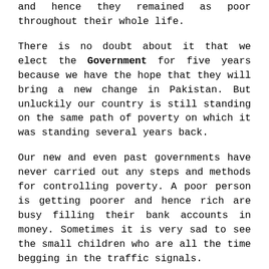and hence they remained as poor throughout their whole life.
There is no doubt about it that we elect the Government for five years because we have the hope that they will bring a new change in Pakistan. But unluckily our country is still standing on the same path of poverty on which it was standing several years back.
Our new and even past governments have never carried out any steps and methods for controlling poverty. A poor person is getting poorer and hence rich are busy filling their bank accounts in money. Sometimes it is very sad to see the small children who are all the time begging in the traffic signals.